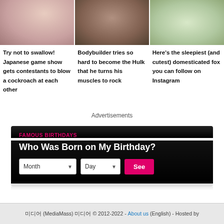[Figure (photo): Three article thumbnail photos in a row: person holding something, muscular bodybuilder, sleeping fox]
Try not to swallow! Japanese game show gets contestants to blow a cockroach at each other
Bodybuilder tries so hard to become the Hulk that he turns his muscles to rock
Here's the sleepiest (and cutest) domesticated fox you can follow on Instagram
Advertisements
FAMOUS BIRTHDAYS
Who Was Born on My Birthday?
Month Day See
미디어 (MediaMass) 미디어 © 2012-2022 - About us (English) - Hosted by